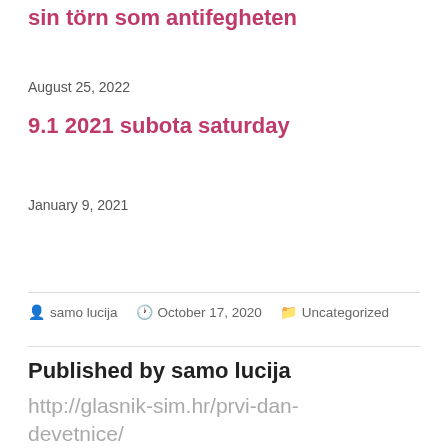sin törn som antifegheten
August 25, 2022
9.1 2021 subota saturday
January 9, 2021
samo lucija   October 17, 2020   Uncategorized
Published by samo lucija
http://glasnik-sim.hr/prvi-dan-devetnice/